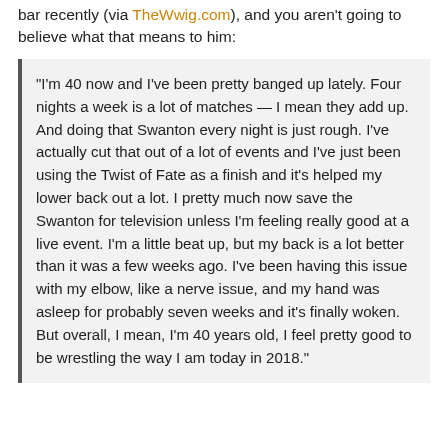bar recently (via TheWwig.com), and you aren't going to believe what that means to him:
“I’m 40 now and I’ve been pretty banged up lately. Four nights a week is a lot of matches — I mean they add up. And doing that Swanton every night is just rough. I’ve actually cut that out of a lot of events and I’ve just been using the Twist of Fate as a finish and it’s helped my lower back out a lot. I pretty much now save the Swanton for television unless I’m feeling really good at a live event. I’m a little beat up, but my back is a lot better than it was a few weeks ago. I’ve been having this issue with my elbow, like a nerve issue, and my hand was asleep for probably seven weeks and it’s finally woken. But overall, I mean, I’m 40 years old, I feel pretty good to be wrestling the way I am today in 2018.”